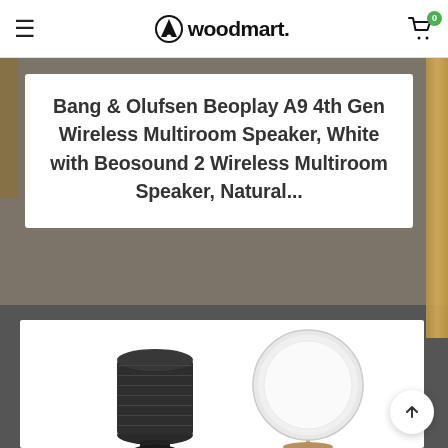woodmart. [hamburger menu, cart icon with badge 0]
Bang & Olufsen Beoplay A9 4th Gen Wireless Multiroom Speaker, White with Beosound 2 Wireless Multiroom Speaker, Natural...
[Figure (photo): Product listing page showing two Bang & Olufsen speakers — a dark cylindrical speaker on the left and a round white/natural speaker on the right, over a dark gray/neutral background with wood accent on right edge]